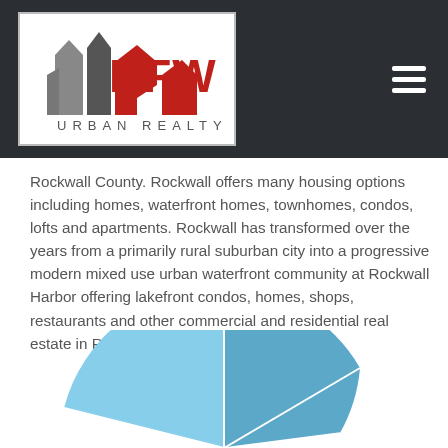[Figure (logo): DFW Urban Realty logo with red and gray flag/banner icons and text 'DFW URBAN REALTY']
Rockwall County. Rockwall offers many housing options including homes, waterfront homes, townhomes, condos, lofts and apartments. Rockwall has transformed over the years from a primarily rural suburban city into a progressive modern mixed use urban waterfront community at Rockwall Harbor offering lakefront condos, homes, shops, restaurants and other commercial and residential real estate in Rockwall, TX.
[Figure (pie-chart): Partial pie chart visible at bottom of page showing segments in light blue and medium blue colors]